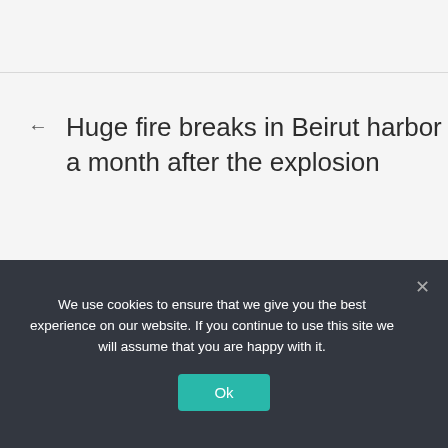Huge fire breaks in Beirut harbor a month after the explosion
We use cookies to ensure that we give you the best experience on our website. If you continue to use this site we will assume that you are happy with it.